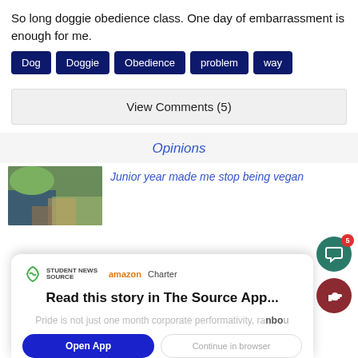So long doggie obedience class. One day of embarrassment is enough for me.
Dog
Doggie
Obedience
problem
way
View Comments (5)
Opinions
Junior year made me stop being vegan
Read this story in The Source App...
Pride is not just one month corporate performance, ra- nbow
Open App   Continue in browser